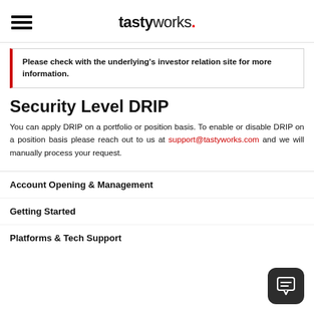tastyworks.
Please check with the underlying's investor relation site for more information.
Security Level DRIP
You can apply DRIP on a portfolio or position basis. To enable or disable DRIP on a position basis please reach out to us at support@tastyworks.com and we will manually process your request.
Account Opening & Management
Getting Started
Platforms & Tech Support